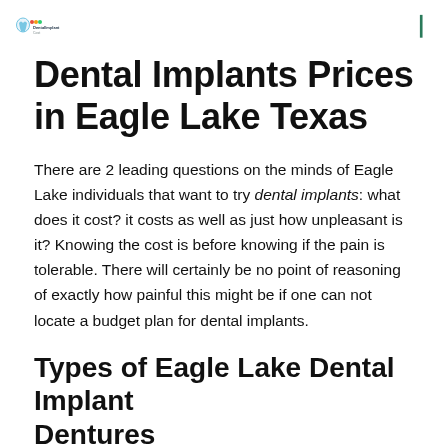DentalImplantCost logo and menu icon
Dental Implants Prices in Eagle Lake Texas
There are 2 leading questions on the minds of Eagle Lake individuals that want to try dental implants: what does it cost? it costs as well as just how unpleasant is it? Knowing the cost is before knowing if the pain is tolerable. There will certainly be no point of reasoning of exactly how painful this might be if one can not locate a budget plan for dental implants.
Types of Eagle Lake Dental Implant Dentures